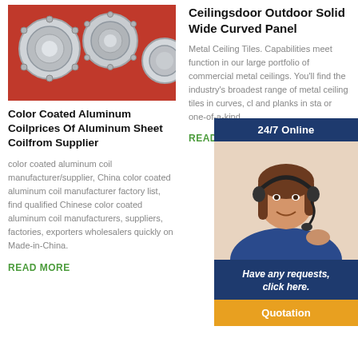[Figure (photo): Aluminum cylindrical parts on a red background]
Color Coated Aluminum Coilprices Of Aluminum Sheet Coilfrom Supplier
color coated aluminum coil manufacturer/supplier, China color coated aluminum coil manufacturer factory list, find qualified Chinese color coated aluminum coil manufacturers, suppliers, factories, exporters wholesalers quickly on Made-in-China.
READ MORE
Ceilingsdoor Outdoor Solid Wide Curved Panel
Metal Ceiling Tiles. Capabilities meet function in our large portfolio of commercial metal ceilings. You'll find the industry's broadest range of metal ceiling tiles in curves, cl and planks in sta or one-of-a-kind
READ MORE
[Figure (photo): 24/7 Online customer service agent - woman with headset smiling]
Have any requests, click here.
Quotation